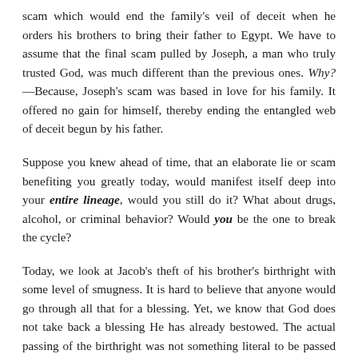scam which would end the family's veil of deceit when he orders his brothers to bring their father to Egypt. We have to assume that the final scam pulled by Joseph, a man who truly trusted God, was much different than the previous ones. Why? —Because, Joseph's scam was based in love for his family. It offered no gain for himself, thereby ending the entangled web of deceit begun by his father.
Suppose you knew ahead of time, that an elaborate lie or scam benefiting you greatly today, would manifest itself deep into your entire lineage, would you still do it? What about drugs, alcohol, or criminal behavior? Would you be the one to break the cycle?
Today, we look at Jacob's theft of his brother's birthright with some level of smugness. It is hard to believe that anyone would go through all that for a blessing. Yet, we know that God does not take back a blessing He has already bestowed. The actual passing of the birthright was not something literal to be passed on by man; it was a spiritual blessing bestowed by God. The thought that occurs to me every time I read this story is that God had already planned from the beginning to bless Jacob, just as He blessed Esau without the actual passing of the birthright from his father. Jacob complicated his own blessing by